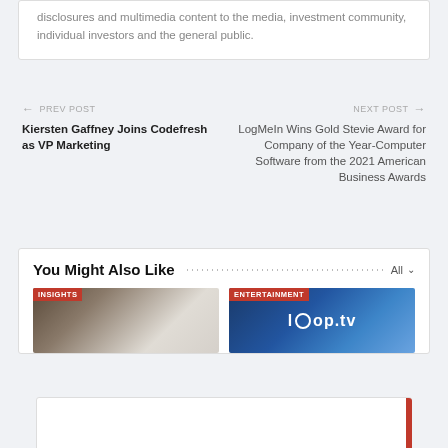disclosures and multimedia content to the media, investment community, individual investors and the general public.
← PREV POST
Kiersten Gaffney Joins Codefresh as VP Marketing
NEXT POST →
LogMeIn Wins Gold Stevie Award for Company of the Year-Computer Software from the 2021 American Business Awards
You Might Also Like
[Figure (photo): Thumbnail image with INSIGHTS label - interior/architectural photo]
[Figure (photo): Thumbnail image with ENTERTAINMENT label - loop.tv logo on blue background]